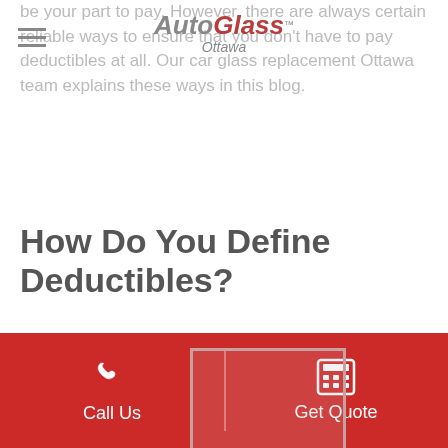AutoGlass Ottawa
be your part to pay. However, there are always certain reliable ways to ensure that you don't have to pay deductibles at all. Our car glass replacement Ottawa team explains these ways in this blog.
How Do You Define Deductibles?
[Figure (photo): Partially transparent image placeholder overlapping body text]
Deductibles come into the picture when you get your windshield replaced. The amount excluding the insurance amount that you need to pay to get your windshield replaced is termed deductibles.
In simple words, yes insurance will subside the windshield
Call Us   Get Quote